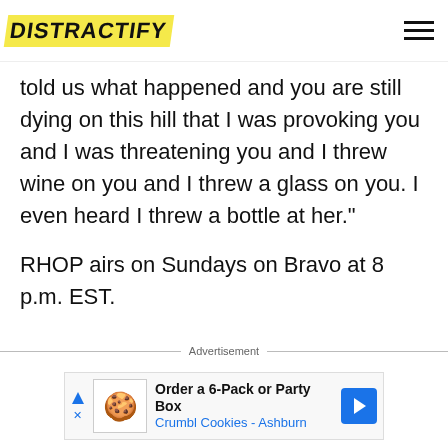DISTRACTIFY
told us what happened and you are still dying on this hill that I was provoking you and I was threatening you and I threw wine on you and I threw a glass on you. I even heard I threw a bottle at her."
RHOP airs on Sundays on Bravo at 8 p.m. EST.
Advertisement
[Figure (other): Advertisement banner: Order a 6-Pack or Party Box — Crumbl Cookies - Ashburn]